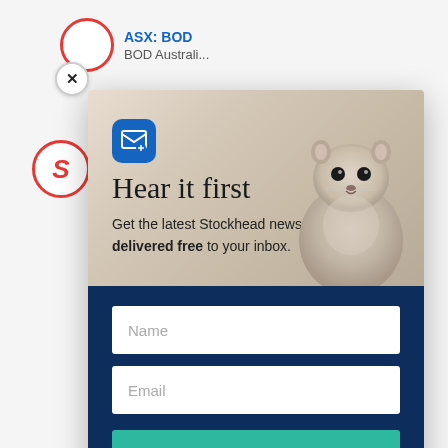ASX: BOD BOD Australi...
[Figure (screenshot): Email newsletter signup modal popup for Stockhead. Top half shows a groundhog/marmot animal photo with light beige/grey tones, a blue email icon, and the heading 'Hear it first'. Text reads 'Get the latest Stockhead news delivered free to your inbox.' Bottom half is dark navy blue with a Name input field, Email input field, and a teal 'SIGN ME UP' button.]
Hear it first
Get the latest Stockhead news delivered free to your inbox.
Name
Email
SIGN ME UP